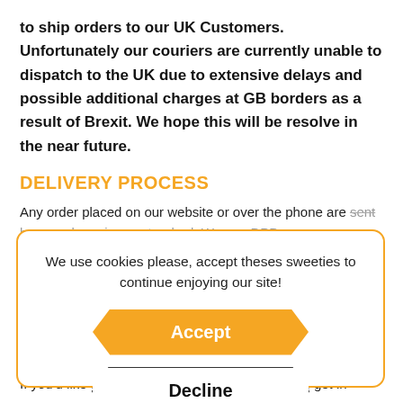to ship orders to our UK Customers. Unfortunately our couriers are currently unable to dispatch to the UK due to extensive delays and possible additional charges at GB borders as a result of Brexit. We hope this will be resolve in the near future.
DELIVERY PROCESS
Any order placed on our website or over the phone are sent by parcel courier as standard. We use DPD...
We use cookies please, accept theses sweeties to continue enjoying our site!
Accept
Decline
If you'd like to receive a quote for postal delivery, get in touch with us to see...